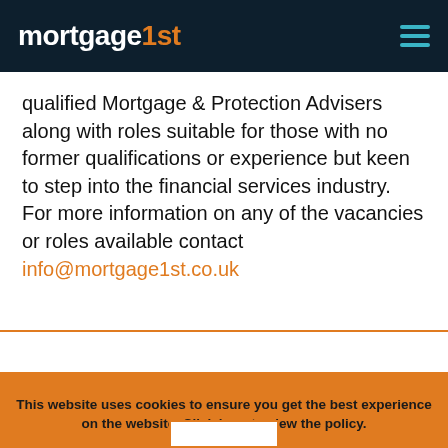mortgage1st
qualified Mortgage & Protection Advisers along with roles suitable for those with no former qualifications or experience but keen to step into the financial services industry. For more information on any of the vacancies or roles available contact info@mortgage1st.co.uk
This website uses cookies to ensure you get the best experience on the website. Click here to view the policy.